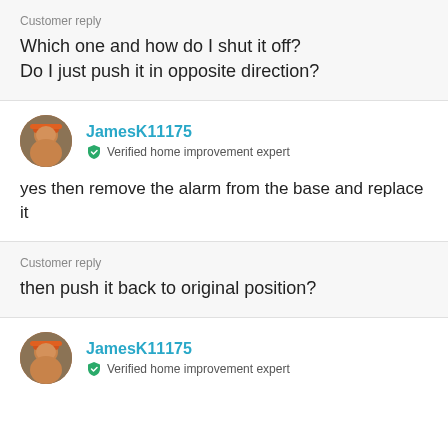Customer reply
Which one and how do I shut it off?
Do I just push it in opposite direction?
JamesK11175
Verified home improvement expert
yes then remove the alarm from the base and replace it
Customer reply
then push it back to original position?
JamesK11175
Verified home improvement expert